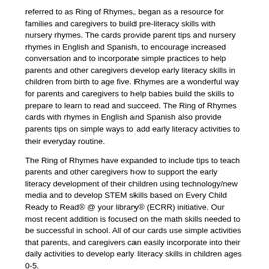referred to as Ring of Rhymes, began as a resource for families and caregivers to build pre-literacy skills with nursery rhymes.  The cards provide parent tips and nursery rhymes in English and Spanish, to encourage increased conversation and to incorporate simple practices to help parents and other caregivers develop early literacy skills in children from birth to age five. Rhymes are a wonderful way for parents and caregivers to help babies build the skills to prepare to learn to read and succeed. The Ring of Rhymes cards with rhymes in English and Spanish also provide parents tips on simple ways to add early literacy activities to their everyday routine.
The Ring of Rhymes have expanded to include tips to teach parents and other caregivers how to support the early literacy development of their children using technology/new media and to develop STEM skills based on Every Child Ready to Read® @ your library® (ECRR) initiative.  Our most recent addition is focused on the math skills needed to be successful in school.  All of our cards use simple activities that parents, and caregivers can easily incorporate into their daily activities to develop early literacy skills in children ages 0-5.
The current set of Early Literacy Ring Cards includes:
Ring of Rhymes